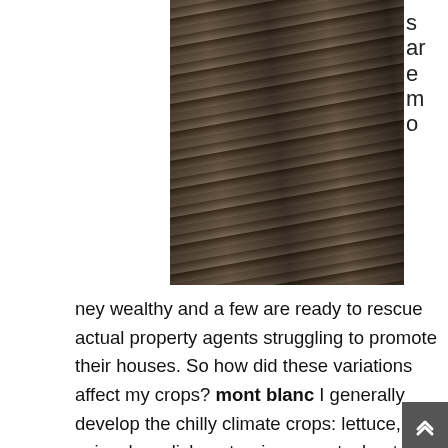[Figure (photo): Aerial/close-up view of tilled soil/dirt field with rows and tire tracks visible]
s ar e m o
ney wealthy and a few are ready to rescue actual property agents struggling to promote their houses. So how did these variations affect my crops? mont blanc I generally develop the chilly climate crops: lettuce, spinach, radishes, turnips, carrots, beets, broccoli, in addition to moderate weather crops: summer time squash and early tomatoes. Government-backed loans: Energetic and former members of the U.S. Army, National Guard and Reserve, in addition to spouses of veterans who died in service or because of a service-related injury,